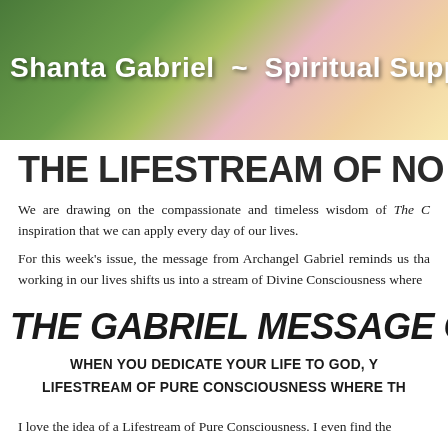[Figure (photo): Header banner image with lotus flower on green background, text overlay reading 'Shanta Gabriel ~ Spiritual Support for']
THE LIFESTREAM OF NO L
We are drawing on the compassionate and timeless wisdom of The C inspiration that we can apply every day of our lives.
For this week's issue, the message from Archangel Gabriel reminds us tha working in our lives shifts us into a stream of Divine Consciousness where
THE GABRIEL MESSAGE CARD #
WHEN YOU DEDICATE YOUR LIFE TO GOD, Y
LIFESTREAM OF PURE CONSCIOUSNESS WHERE TH
I love the idea of a Lifestream of Pure Consciousness. I even find the